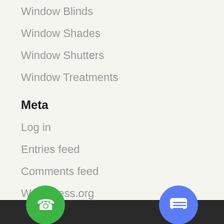Window Blinds
Window Shades
Window Shutters
Window Treatments
Meta
Log in
Entries feed
Comments feed
WordPress.org
[Figure (illustration): Green circular phone call button with white handset icon at bottom left, and blue circular chat/message button with white speech bubble lines icon at bottom right, over a dark footer bar.]